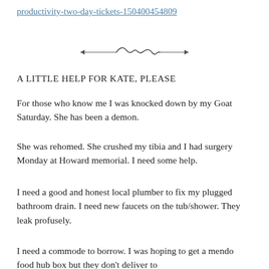productivity-two-day-tickets-150400454809
[Figure (illustration): Decorative ornamental divider with scroll/wave design]
A LITTLE HELP FOR KATE, PLEASE
For those who know me I was knocked down by my Goat Saturday. She has been a demon.
She was rehomed. She crushed my tibia and I had surgery Monday at Howard memorial. I need some help.
I need a good and honest local plumber to fix my plugged bathroom drain. I need new faucets on the tub/shower. They leak profusely.
I need a commode to borrow. I was hoping to get a mendo food hub box but they don't deliver to